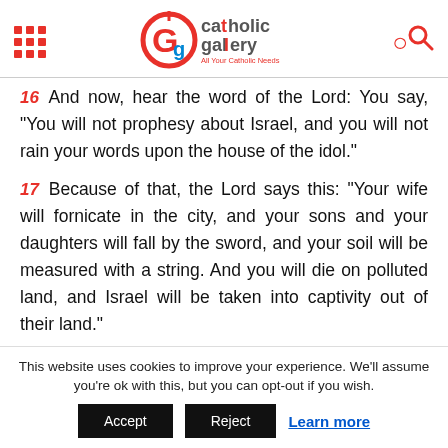Catholic Gallery - All Your Catholic Needs
16 And now, hear the word of the Lord: You say, “You will not prophesy about Israel, and you will not rain your words upon the house of the idol.”
17 Because of that, the Lord says this: “Your wife will fornicate in the city, and your sons and your daughters will fall by the sword, and your soil will be measured with a string. And you will die on polluted land, and Israel will be taken into captivity out of their land.”
This website uses cookies to improve your experience. We’ll assume you’re ok with this, but you can opt-out if you wish. Accept Reject Learn more